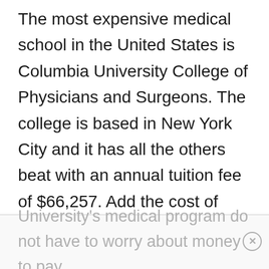The most expensive medical school in the United States is Columbia University College of Physicians and Surgeons. The college is based in New York City and it has all the others beat with an annual tuition fee of $66,257. Add the cost of books and other supplies and you're going to be paying a pretty penny to get through the program. This Ivy League school, according to most is well worth the expense. Although many students that enroll in Columbia University's medical program do not have to worry about money to pay